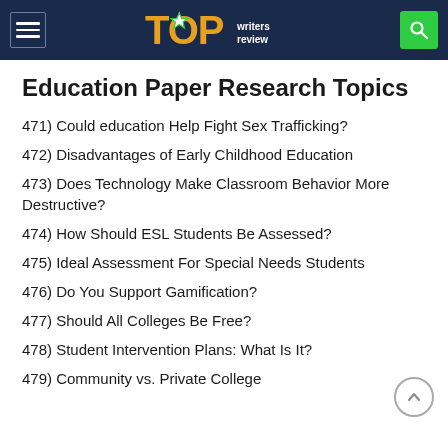TOP writers review
Education Paper Research Topics
471) Could education Help Fight Sex Trafficking?
472) Disadvantages of Early Childhood Education
473) Does Technology Make Classroom Behavior More Destructive?
474) How Should ESL Students Be Assessed?
475) Ideal Assessment For Special Needs Students
476) Do You Support Gamification?
477) Should All Colleges Be Free?
478) Student Intervention Plans: What Is It?
479) Community vs. Private College